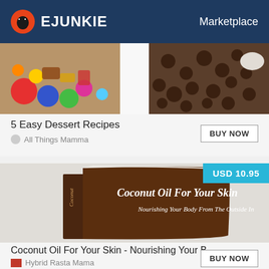EJUNKIE  Marketplace
[Figure (photo): Colorful candy and dessert items spread on a table, split image showing candies on left and chocolate coffee beans on right]
5 Easy Dessert Recipes
All Things Mamma
[Figure (photo): 3D rendered book cover showing 'Coconut Oil For Your Skin - Nourishing Your Body From The Outside In' with brown/dark chocolate colored cover and white script text. Price badge shows USD 10.95]
Coconut Oil For Your Skin - Nourishing Your B...
Hybrid Rasta Mama